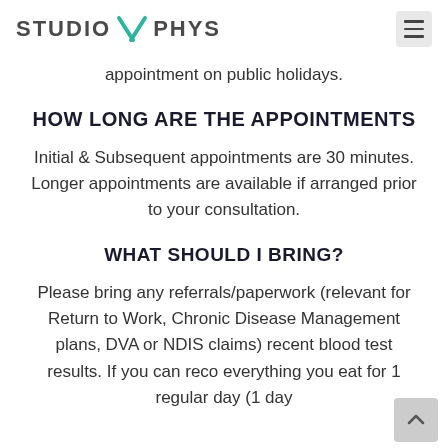STUDIO X PHYS
appointment on public holidays.
HOW LONG ARE THE APPOINTMENTS
Initial & Subsequent appointments are 30 minutes. Longer appointments are available if arranged prior to your consultation.
WHAT SHOULD I BRING?
Please bring any referrals/paperwork (relevant for Return to Work, Chronic Disease Management plans, DVA or NDIS claims) recent blood test results. If you can reco everything you eat for 1 regular day (1 day